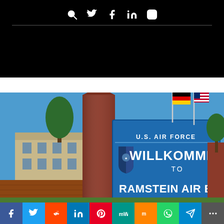Navigation bar with search, Twitter, Facebook, LinkedIn, Instagram icons
[Figure (photo): Ramstein Air Base welcome sign with U.S. Air Force logo, 'WILLKOMMEN TO RAMSTEIN AIR BASE' text in white on blue background, flanked by a tall red stone monument and a flagpole with German and American flags, building and trees visible in background]
Social sharing bar: Facebook, Twitter, Reddit, LinkedIn, Pinterest, MW, Mix, WhatsApp, Telegram, More